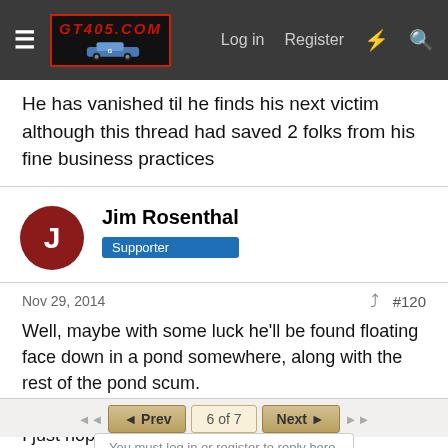GT405.COM | Log in | Register
He has vanished til he finds his next victim although this thread had saved 2 folks from his fine business practices
Jim Rosenthal
Supporter
Nov 29, 2014  #120
Well, maybe with some luck he'll be found floating face down in a pond somewhere, along with the rest of the pond scum.

I just hope we all have alibis. LOL
◄◄  ◄ Prev  6 of 7  Next ►  ►► | You must log in or register to reply here.
Share: (social icons)